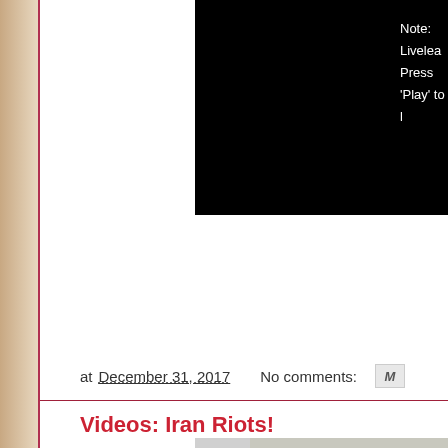[Figure (screenshot): Black video player area with white text: 'Note: Livelea...' and 'Press Play to...']
at December 31, 2017   No comments:
Videos: Iran Riots!
[Figure (photo): Partial bottom image, appears to be a news/riot photo, cropped]